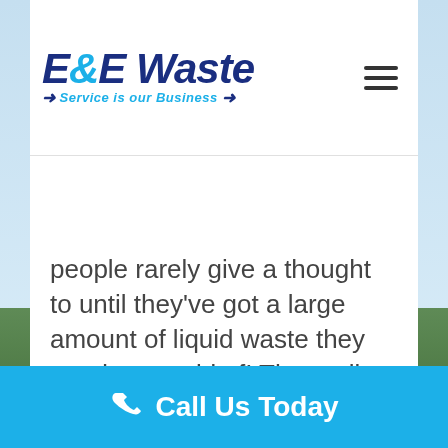[Figure (logo): E&E Waste logo with tagline 'Service is our Business' and hamburger menu icon]
people rarely give a thought to until they've got a large amount of liquid waste they need to get rid of! The reality is that we all produce waste in many forms, and being able to rely on a company to provide a fast, safe and efficient method of removing
READ MORE
Call Us Today